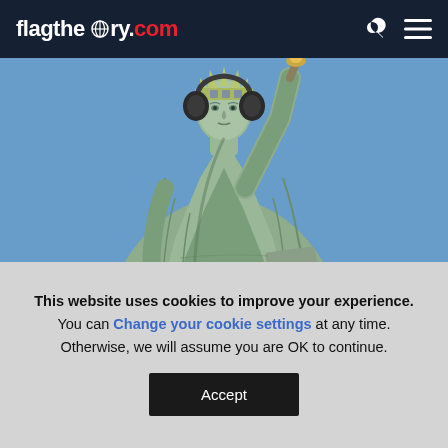flagtheory.com
[Figure (photo): Statue of Liberty upper body against blue sky, wearing headphones]
world where a simple google search could implicate you in a crime, or at least damage you...
This website uses cookies to improve your experience. You can Change your cookie settings at any time. Otherwise, we will assume you are OK to continue.
Accept